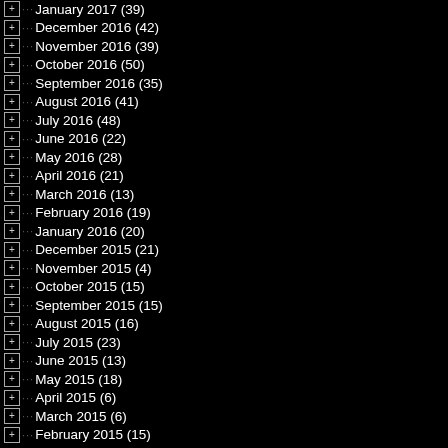January 2017 (39)
December 2016 (42)
November 2016 (39)
October 2016 (50)
September 2016 (35)
August 2016 (41)
July 2016 (48)
June 2016 (22)
May 2016 (28)
April 2016 (21)
March 2016 (13)
February 2016 (19)
January 2016 (20)
December 2015 (21)
November 2015 (4)
October 2015 (15)
September 2015 (15)
August 2015 (16)
July 2015 (23)
June 2015 (13)
May 2015 (18)
April 2015 (6)
March 2015 (6)
February 2015 (15)